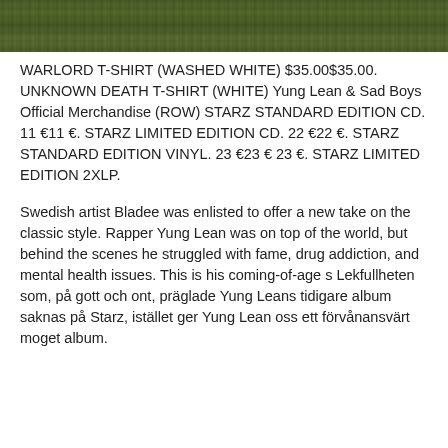[Figure (photo): A strip of a nature/outdoor photo showing green foliage and trees at the top of the page]
WARLORD T-SHIRT (WASHED WHITE) $35.00$35.00. UNKNOWN DEATH T-SHIRT (WHITE) Yung Lean & Sad Boys Official Merchandise (ROW) STARZ STANDARD EDITION CD. 11 €11 €. STARZ LIMITED EDITION CD. 22 €22 €. STARZ STANDARD EDITION VINYL. 23 €23 € 23 €. STARZ LIMITED EDITION 2XLP.
Swedish artist Bladee was enlisted to offer a new take on the classic style. Rapper Yung Lean was on top of the world, but behind the scenes he struggled with fame, drug addiction, and mental health issues. This is his coming-of-age s Lekfullheten som, på gott och ont, präglade Yung Leans tidigare album saknas på Starz, istället ger Yung Lean oss ett förvånansvärt moget album.